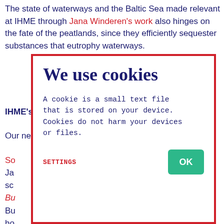The state of waterways and the Baltic Sea made relevant at IHME through Jana Winderen's work also hinges on the fate of the peatlands, since they efficiently sequester substances that eutrophy waterways.
IHME's events continue from January
Our new operating year begins with IHME's Night of So... Ja... sc...
Bu... Bu... ho... Fo... ch... su... me... M...
[Figure (screenshot): Cookie consent modal dialog with red border. Title: 'We use cookies'. Body text in monospace: 'A cookie is a small text file that is stored on your device. Cookies do not harm your devices or files.' Footer has 'SETTINGS' in red monospace and a green 'OK' button.]